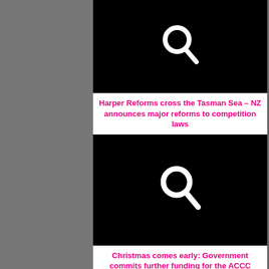[Figure (screenshot): Black rectangle with white search magnifying glass icon]
Harper Reforms cross the Tasman Sea – NZ announces major reforms to competition laws
[Figure (screenshot): Black rectangle with white search magnifying glass icon]
Christmas comes early: Government commits further funding for the ACCC
[Figure (screenshot): Black rectangle with white search magnifying glass icon (partially visible)]